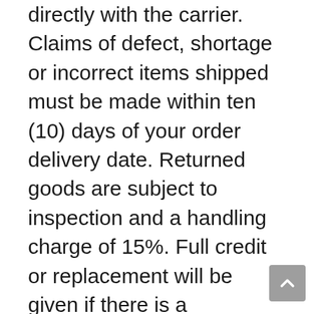directly with the carrier. Claims of defect, shortage or incorrect items shipped must be made within ten (10) days of your order delivery date. Returned goods are subject to inspection and a handling charge of 15%. Full credit or replacement will be given if there is a manufacturing defect or an error in filling the order. Refunds on shipping and handling are credited only when an items are incorrectly shipped or are defective in material or workmanship. All damage claims must be made directly with United Parcel Service (U.P.S.) or other shipper. All refunds will be credited to the same credit card used to make the purchase. Please